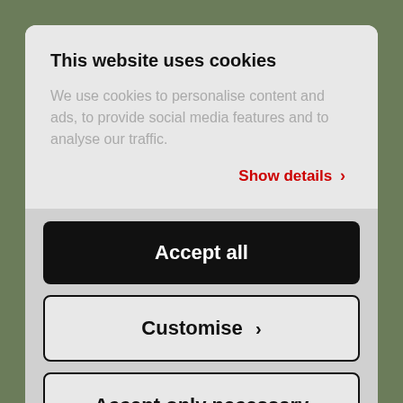[Figure (screenshot): Background showing a blurred outdoor scene with vegetation]
This website uses cookies
We use cookies to personalise content and ads, to provide social media features and to analyse our traffic.
Show details >
Accept all
Customise >
Accept only necessary